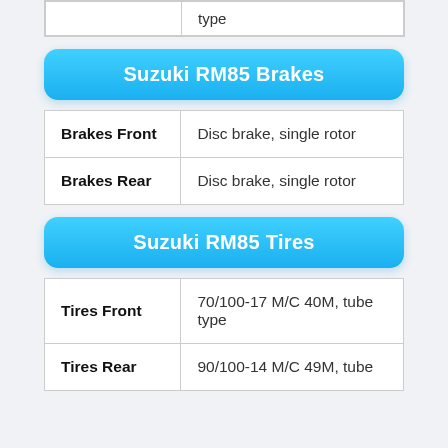|  | type |
Suzuki RM85 Brakes
|  |  |
| --- | --- |
| Brakes Front | Disc brake, single rotor |
| Brakes Rear | Disc brake, single rotor |
Suzuki RM85 Tires
|  |  |
| --- | --- |
| Tires Front | 70/100-17 M/C 40M, tube type |
| Tires Rear | 90/100-14 M/C 49M, tube |